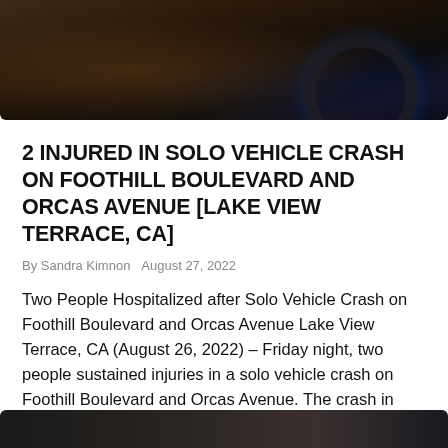[Figure (photo): Close-up dark photo of a person's hand on a car steering wheel with dashboard instruments visible]
2 INJURED IN SOLO VEHICLE CRASH ON FOOTHILL BOULEVARD AND ORCAS AVENUE [LAKE VIEW TERRACE, CA]
By Sandra Kimnon   August 27, 2022
Two People Hospitalized after Solo Vehicle Crash on Foothill Boulevard and Orcas Avenue Lake View Terrace, CA (August 26, 2022) – Friday night, two people sustained injuries in a solo vehicle crash on Foothill Boulevard and Orcas Avenue. The crash in Lake View Terrace happened at around 10:30 p.m. on August 26. Reportedly, the car [...]
[Figure (photo): Partial bottom photo, dark background suggesting another vehicle or road scene]